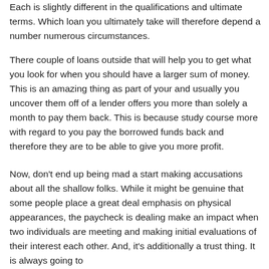Each is slightly different in the qualifications and ultimate terms. Which loan you ultimately take will therefore depend a number numerous circumstances.
There couple of loans outside that will help you to get what you look for when you should have a larger sum of money. This is an amazing thing as part of your and usually you uncover them off of a lender offers you more than solely a month to pay them back. This is because study course more with regard to you pay the borrowed funds back and therefore they are to be able to give you more profit.
Now, don't end up being mad a start making accusations about all the shallow folks. While it might be genuine that some people place a great deal emphasis on physical appearances, the paycheck is dealing make an impact when two individuals are meeting and making initial evaluations of their interest each other. And, it's additionally a trust thing. It is always going to